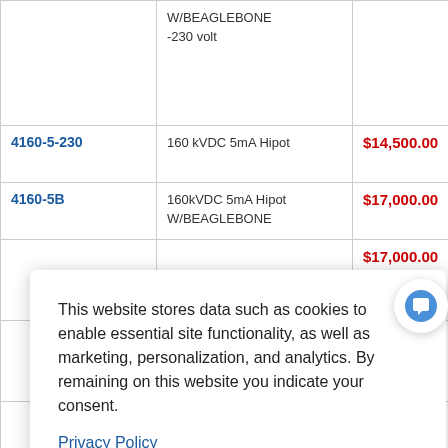| SKU | Description | Price | Action |
| --- | --- | --- | --- |
|  | W/BEAGLEBONE
-230 volt |  | Rec |
| 4160-5-230 | 160 kVDC 5mA Hipot | $14,500.00 | AD
Rec |
| 4160-5B | 160kVDC 5mA Hipot W/BEAGLEBONE | $17,000.00 | AD
Rec |
|  |  | $17,000.00 | AD
Rec |
|  |  | $29,700.0 | Rec |
|  |  | $32,200.00 | AD
Rec |
This website stores data such as cookies to enable essential site functionality, as well as marketing, personalization, and analytics. By remaining on this website you indicate your consent.
Privacy Policy